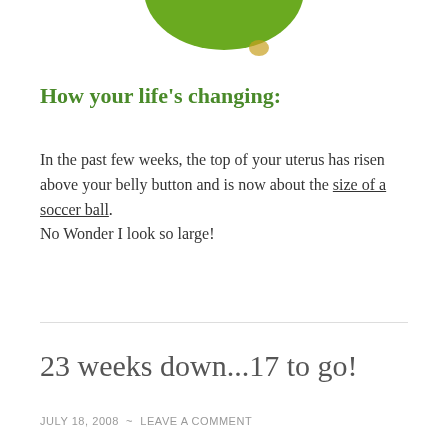[Figure (photo): Partial view of a green avocado or similar green fruit/vegetable at the top of the page, cropped]
How your life's changing:
In the past few weeks, the top of your uterus has risen above your belly button and is now about the size of a soccer ball.
No Wonder I look so large!
23 weeks down...17 to go!
JULY 18, 2008  ~  LEAVE A COMMENT